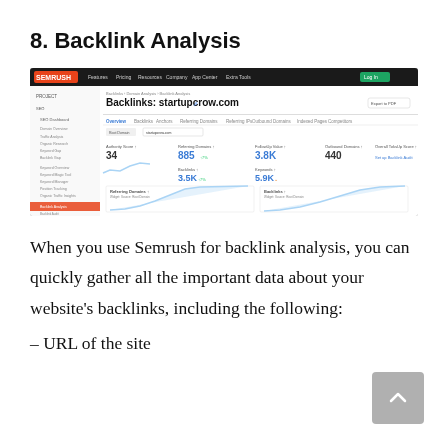8. Backlink Analysis
[Figure (screenshot): Screenshot of Semrush Backlink Analysis tool showing startupcrow.com with metrics: Authority Score 34, Referring Domains 885, FollowUp Value 3.8K, Outbound Domains 440, Backlinks 3.5K, Keywords 5.9K, and graphs for Referring Domains and Backlinks over time.]
When you use Semrush for backlink analysis, you can quickly gather all the important data about your website’s backlinks, including the following:
– URL of the site